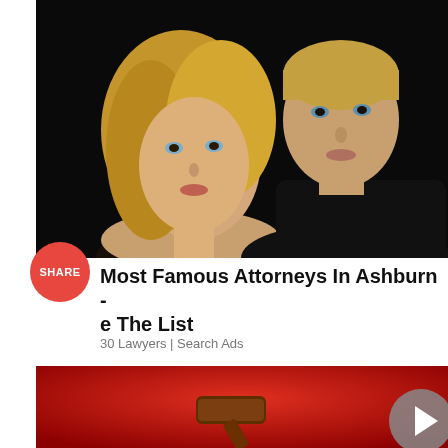[Figure (photo): A blonde woman and a man with short blonde hair posing together, both looking at the camera, dark background]
Most Famous Attorneys In Ashburn - e The List
30 Lawyers | Search Ads
[Figure (photo): Red background with a wooden gavel, partially visible navigation arrow on the right]